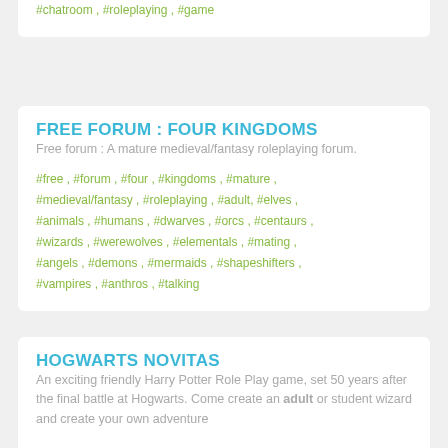#chatroom , #roleplaying , #game
FREE FORUM : FOUR KINGDOMS
Free forum : A mature medieval/fantasy roleplaying forum.
#free , #forum , #four , #kingdoms , #mature , #medieval/fantasy , #roleplaying , #adult, #elves , #animals , #humans , #dwarves , #orcs , #centaurs , #wizards , #werewolves , #elementals , #mating , #angels , #demons , #mermaids , #shapeshifters , #vampires , #anthros , #talking
HOGWARTS NOVITAS
An exciting friendly Harry Potter Role Play game, set 50 years after the final battle at Hogwarts. Come create an adult or student wizard and create your own adventure